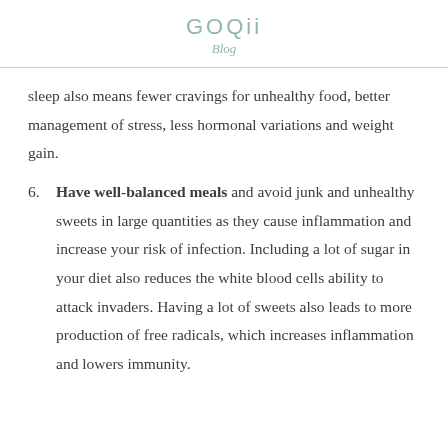GOQii
Blog
sleep also means fewer cravings for unhealthy food, better management of stress, less hormonal variations and weight gain.
6. Have well-balanced meals and avoid junk and unhealthy sweets in large quantities as they cause inflammation and increase your risk of infection. Including a lot of sugar in your diet also reduces the white blood cells ability to attack invaders. Having a lot of sweets also leads to more production of free radicals, which increases inflammation and lowers immunity.